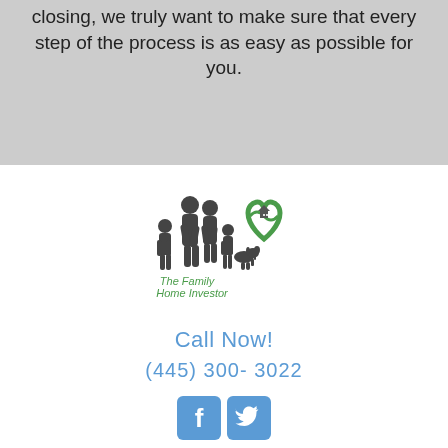closing, we truly want to make sure that every step of the process is as easy as possible for you.
[Figure (logo): The Family Home Investor logo — silhouette of a family with adults, children, and a dog, alongside a green heart shape with a house icon inside. Text reads 'The Family Home Investor'.]
Call Now!
(445) 300-3022
[Figure (other): Facebook and Twitter social media icon buttons in blue.]